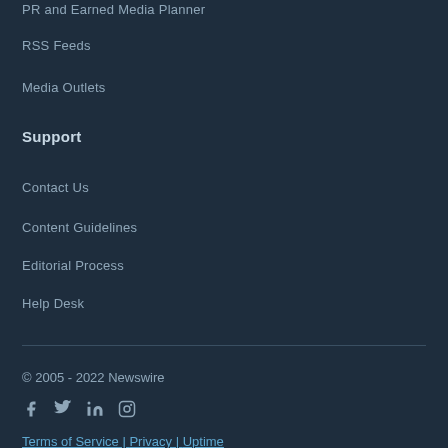PR and Earned Media Planner
RSS Feeds
Media Outlets
Support
Contact Us
Content Guidelines
Editorial Process
Help Desk
© 2005 - 2022 Newswire
Terms of Service | Privacy | Uptime